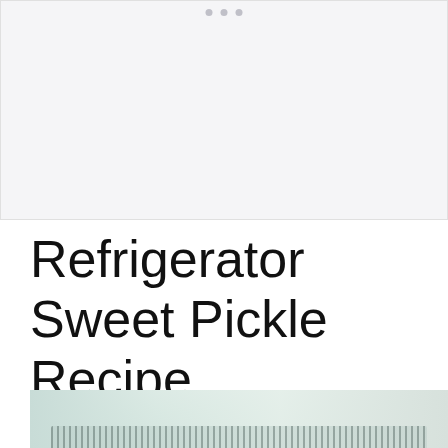[Figure (photo): Top image area showing a light grey/white background with navigation dots at top, partially visible recipe photo]
Refrigerator Sweet Pickle Recipe
[Figure (photo): Bottom portion of a photo showing a glass jar with pickles, blurred kitchen background]